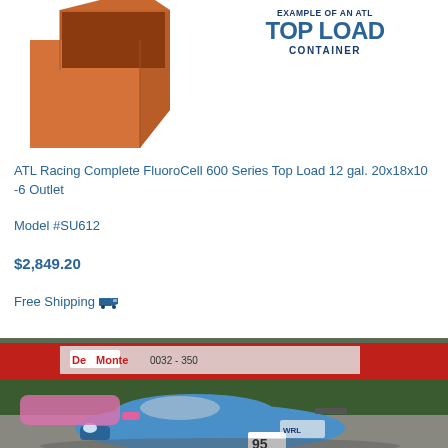[Figure (photo): ATL top load container box — orange/red cardboard box shown partially from top-left corner]
EXAMPLE OF AN ATL TOP LOAD CONTAINER
ATL Racing Complete FluoroCell 600 Series Top Load 12 gal. 20x18x10 -6 Outlet
Model #SU612
$2,849.20
Free Shipping 🚚
[Figure (photo): Racing car number 95 — blue race car on track with pink accents, with red advertising banner in background reading 'De Monte 0032 350']